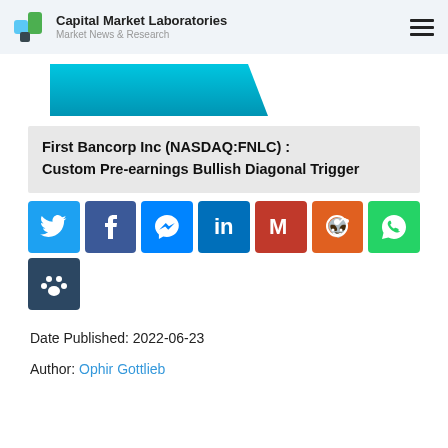Capital Market Laboratories — Market News & Research
[Figure (illustration): Decorative cyan/teal banner ribbon shape]
First Bancorp Inc (NASDAQ:FNLC) : Custom Pre-earnings Bullish Diagonal Trigger
[Figure (infographic): Social share buttons: Twitter, Facebook, Messenger, LinkedIn, Gmail, Reddit, WhatsApp, Tumblr]
Date Published: 2022-06-23
Author: Ophir Gottlieb